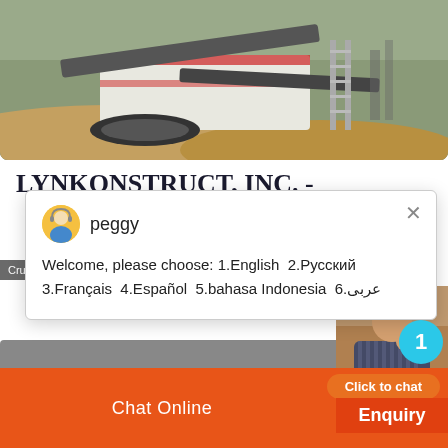[Figure (photo): Construction machinery / crushing plant equipment photographed outdoors — heavy machinery with conveyor belts and tracked vehicle, brown sandy terrain]
LYNKONSTRUCT, INC. -
[Figure (screenshot): Live chat popup widget showing agent 'peggy' with welcome message: 'Welcome, please choose: 1.English 2.Русский 3.Français 4.Español 5.bahasa Indonesia 6.عربى']
Crushing Plant @ Sison Pangasinan. Lynk...
[Figure (photo): Live chat widget showing person in striped shirt with notification badge showing '1' and 'Click to chat' button and 'Enquiry' button]
Chat Online   cywaitml @gmail.com